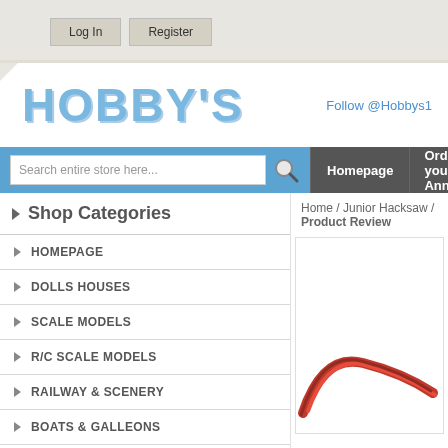Log In  Register
HOBBY'S
Follow @Hobbys1
Search entire store here...
Homepage
Order your Annual
Home / Junior Hacksaw / Product Review
Shop Categories
HOMEPAGE
DOLLS HOUSES
SCALE MODELS
R/C SCALE MODELS
RAILWAY & SCENERY
BOATS & GALLEONS
FLYING SCALE MODELS
MATERIALS
[Figure (screenshot): Partial view of a red junior hacksaw tool]